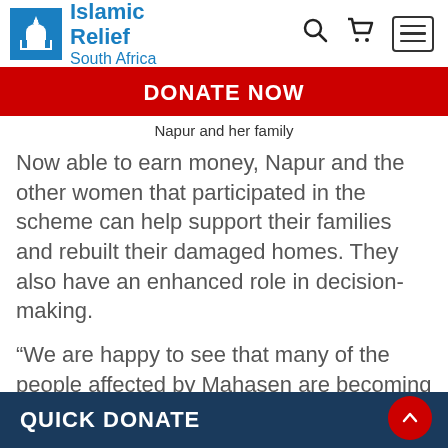Islamic Relief South Africa
DONATE NOW
Napur and her family
Now able to earn money, Napur and the other women that participated in the scheme can help support their families and rebuilt their damaged homes. They also have an enhanced role in decision-making.
“We are happy to see that many of the people affected by Mahasen are becoming self-reliant through various income generating activities,” said Mohammed Fazlur Rahman, Chairman of
QUICK DONATE